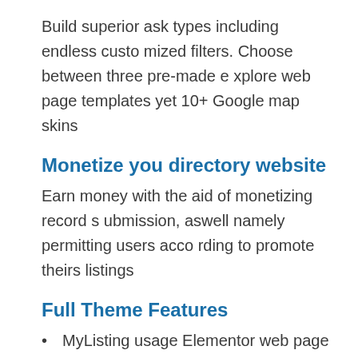Build superior ask types including endless customized filters. Choose between three pre-made explore web page templates yet 10+ Google map skins
Monetize you directory website
Earn money with the aid of monetizing record submission, aswell namely permitting users according to promote theirs listings
Full Theme Features
MyListing usage Elementor web page